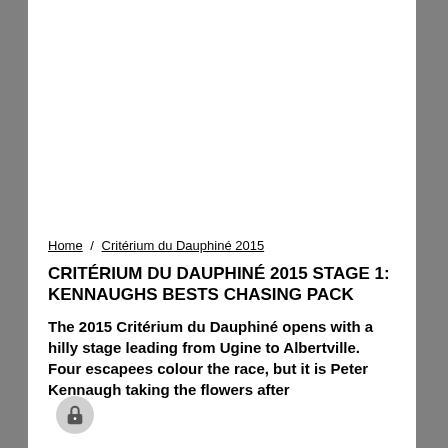[Figure (photo): Large white/blank image area at top of article page]
Home / Critérium du Dauphiné 2015
CRITÉRIUM DU DAUPHINÉ 2015 STAGE 1: KENNAUGHS BESTS CHASING PACK
The 2015 Critérium du Dauphiné opens with a hilly stage leading from Ugine to Albertville. Four escapees colour the race, but it is Peter Kennaugh taking the flowers after